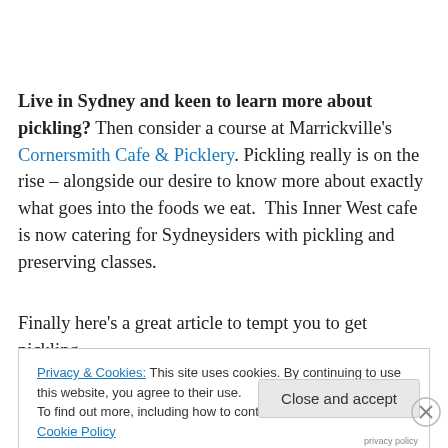Live in Sydney and keen to learn more about pickling? Then consider a course at Marrickville's Cornersmith Cafe & Picklery. Pickling really is on the rise – alongside our desire to know more about exactly what goes into the foods we eat.  This Inner West cafe is now catering for Sydneysiders with pickling and preserving classes.
Finally here's a great article to tempt you to get pickling –
Privacy & Cookies: This site uses cookies. By continuing to use this website, you agree to their use.
To find out more, including how to control cookies, see here: Cookie Policy
Close and accept